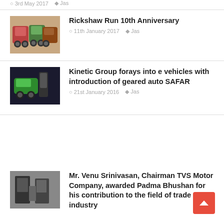3rd May 2017  Jas
Rickshaw Run 10th Anniversary
11th January 2017  Jas
[Figure (photo): Three auto-rickshaws (tuk-tuks) parked on dirt ground]
Kinetic Group forays into e vehicles with introduction of geared auto SAFAR
21st January 2016  Jas
[Figure (photo): Green electric auto rickshaw with a person standing beside it]
Mr. Venu Srinivasan, Chairman TVS Motor Company, awarded Padma Bhushan for his contribution to the field of trade and industry
[Figure (photo): Mr. Venu Srinivasan receiving an award, formal setting]